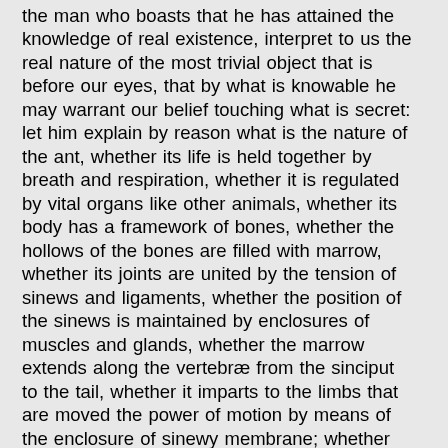the man who boasts that he has attained the knowledge of real existence, interpret to us the real nature of the most trivial object that is before our eyes, that by what is knowable he may warrant our belief touching what is secret: let him explain by reason what is the nature of the ant, whether its life is held together by breath and respiration, whether it is regulated by vital organs like other animals, whether its body has a framework of bones, whether the hollows of the bones are filled with marrow, whether its joints are united by the tension of sinews and ligaments, whether the position of the sinews is maintained by enclosures of muscles and glands, whether the marrow extends along the vertebræ from the sinciput to the tail, whether it imparts to the limbs that are moved the power of motion by means of the enclosure of sinewy membrane; whether the creature has a liver, and in connection with the liver a gall-bladder; whether it has kidneys and heart, arteries and veins, membranes and diaphragm; whether it is externally smooth or covered with hair; whether it is distinguished by the division into male and female; in what part of its body is located the power of sight and hearing; whether it enjoys the sense of smell; whether its feet are undivided or articulated; how long it lives; what is the method in which they derive generation one from another, and what is the period of gestation; how it is that all ants do not crawl, nor